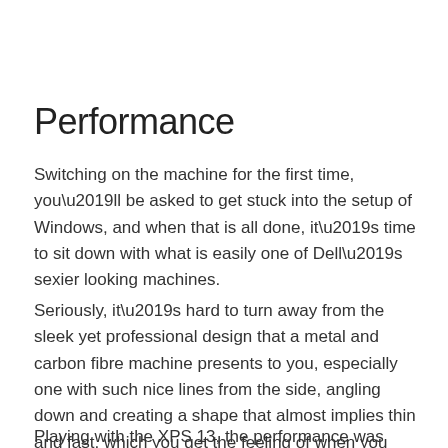Performance
Switching on the machine for the first time, you’ll be asked to get stuck into the setup of Windows, and when that is all done, it’s time to sit down with what is easily one of Dell’s sexier looking machines.
Seriously, it’s hard to turn away from the sleek yet professional design that a metal and carbon fibre machine presents to you, especially one with such nice lines from the side, angling down and creating a shape that almost implies thin and fast, which you get the feeling of when you grip this machine.
Playing with the XPS 13, the performance was totally kind...